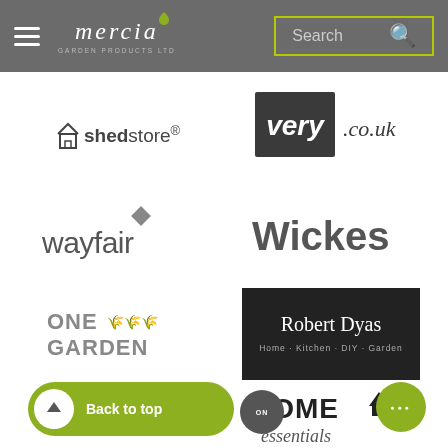Mercia Garden Products - Navigation header with search
[Figure (logo): Shedstore logo with house icon]
[Figure (logo): Very.co.uk logo with dark square background]
[Figure (logo): Wayfair logo with diamond icon]
[Figure (logo): Wickes logo in bold sans-serif]
[Figure (logo): One Garden logo with plant illustration]
[Figure (logo): Robert Dyas logo on black background - Home Kitchen DIY Garden]
[Figure (logo): HOME essentials logo with house icon]
[Figure (infographic): Back to top button with upward arrow, olive green pill shape]
[Figure (infographic): Olive green circle with three dots (more options)]